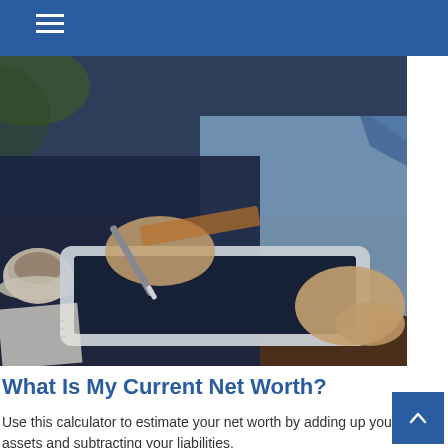[Figure (photo): A man in a dark suit writing on a tablet with a stylus, seated at a table with a coffee cup visible on the left.]
What Is My Current Net Worth?
Use this calculator to estimate your net worth by adding up your assets and subtracting your liabilities.